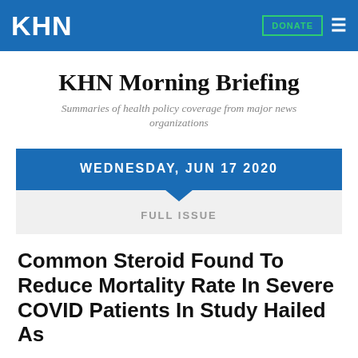KHN
KHN Morning Briefing
Summaries of health policy coverage from major news organizations
WEDNESDAY, JUN 17 2020
FULL ISSUE
Common Steroid Found To Reduce Mortality Rate In Severe COVID Patients In Study Hailed As